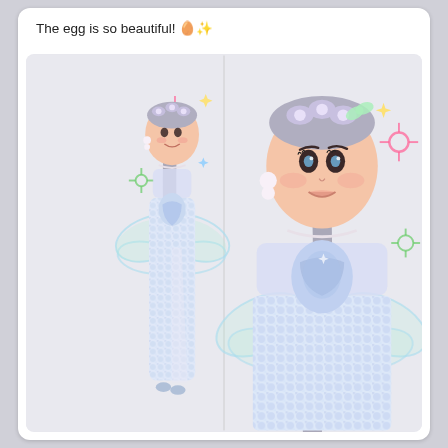The egg is so beautiful! 🥚✨
[Figure (illustration): A social media post image showing two views of an animated fairy-like girl character with long silver-gray hair in a high ponytail, wearing a sparkly iridescent sequin gown with a slit, iridescent dragonfly-style wings, a flower crown/tiara with butterflies, pearl drop earrings, a pearl necklace, and holding a glittery scaled egg. The left side shows the full-body view against a light background with colorful sparkle orbs. The right side shows a close-up portrait view with the same character and details visible.]